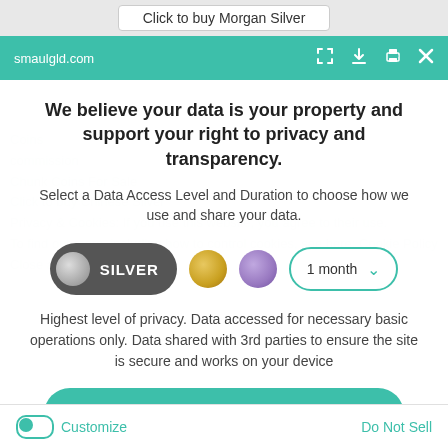Click to buy Morgan Silver
smaulgld.com
We believe your data is your property and support your right to privacy and transparency.
Select a Data Access Level and Duration to choose how we use and share your data.
[Figure (infographic): Data access level selector showing: a dark pill-shaped toggle with grey circle and SILVER label, a gold circle, a purple circle, and a dropdown showing '1 month' with a teal chevron.]
Highest level of privacy. Data accessed for necessary basic operations only. Data shared with 3rd parties to ensure the site is secure and works on your device
Save my preferences
Customize   Do Not Sell